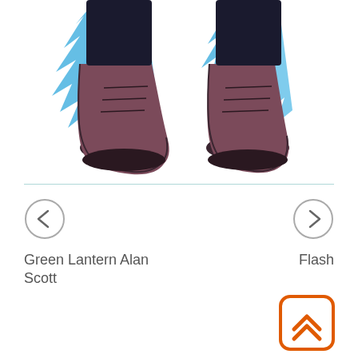[Figure (illustration): Bottom portion of a superhero figure showing two boots with brown/dark coloring and blue flame or energy effects around the feet, on a white background]
Green Lantern Alan Scott
Flash
[Figure (other): Back to top button: orange rounded square icon with double chevron arrows pointing upward]